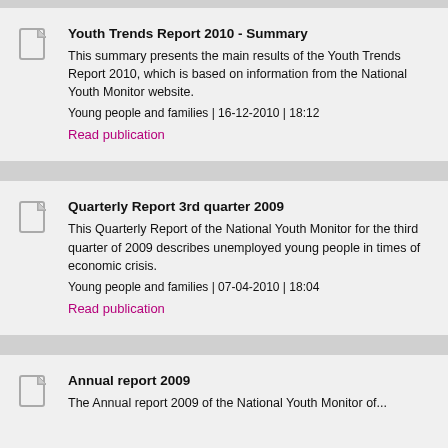Youth Trends Report 2010 - Summary
This summary presents the main results of the Youth Trends Report 2010, which is based on information from the National Youth Monitor website.
Young people and families | 16-12-2010 | 18:12
Read publication
Quarterly Report 3rd quarter 2009
This Quarterly Report of the National Youth Monitor for the third quarter of 2009 describes unemployed young people in times of economic crisis.
Young people and families | 07-04-2010 | 18:04
Read publication
Annual report 2009
The Annual report 2009 of the National Youth Monitor of...